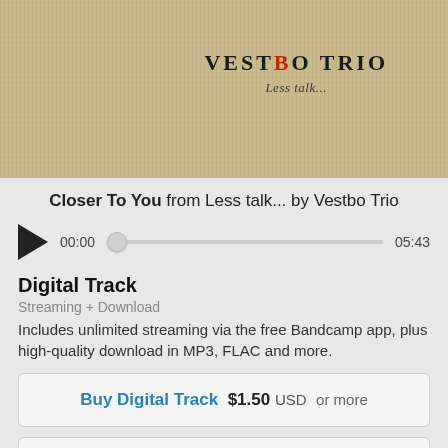[Figure (illustration): Album cover art for Vestbo Trio 'Less talk...' — beige/linen textured background with the text 'VESTBO TRIO' in bold serif capitals and 'Less talk...' in italic below.]
Closer To You from Less talk... by Vestbo Trio
Audio player: 00:00 [scrubber] 05:43
Digital Track
Streaming + Download
Includes unlimited streaming via the free Bandcamp app, plus high-quality download in MP3, FLAC and more.
Buy Digital Track  $1.50  USD  or more
Send as Gift
Buy the Full Digital Album